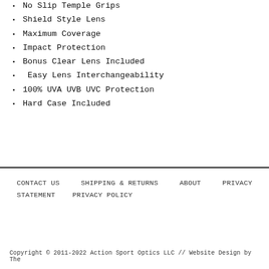No Slip Temple Grips
Shield Style Lens
Maximum Coverage
Impact Protection
Bonus Clear Lens Included
Easy Lens Interchangeability
100% UVA UVB UVC Protection
Hard Case Included
CONTACT US   SHIPPING & RETURNS   ABOUT   PRIVACY STATEMENT   PRIVACY POLICY

Copyright © 2011-2022 Action Sport Optics LLC // Website Design by The